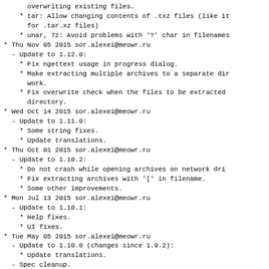overwriting existing files.
* tar: Allow changing contents of .txz files (like it
    for .tar.xz files)
* unar, 7z: Avoid problems with '?' char in filenames
* Thu Nov 05 2015 sor.alexei@meowr.ru
  - Update to 1.12.0:
    * Fix ngettext usage in progress dialog.
    * Make extracting multiple archives to a separate dir
      work.
    * Fix overwrite check when the files to be extracted
      directory.
* Wed Oct 14 2015 sor.alexei@meowr.ru
  - Update to 1.11.0:
    * Some string fixes.
    * Update translations.
* Thu Oct 01 2015 sor.alexei@meowr.ru
  - Update to 1.10.2:
    * Do not crash while opening archives on network dri
    * Fix extracting archives with '[' in filename.
    * Some other improvements.
* Mon Jul 13 2015 sor.alexei@meowr.ru
  - Update to 1.10.1:
    * Help fixes.
    * UI fixes.
* Tue May 05 2015 sor.alexei@meowr.ru
  - Update to 1.10.0 (changes since 1.9.2):
    * Update translations.
  - Spec cleanup.
* Thu Jan 22 2015 p.drouand@gmail.com
  - Update to version 1.9.2 (unstable)